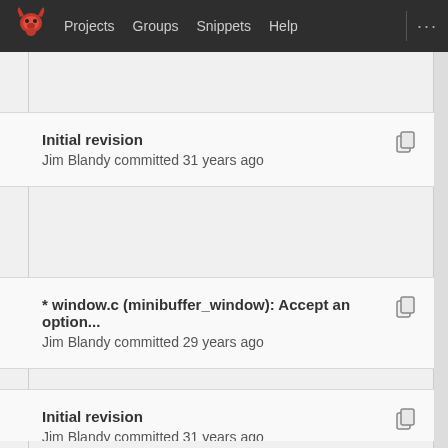Projects  Groups  Snippets  Help
Initial revision
Jim Blandy committed 31 years ago
* window.c (minibuffer_window): Accept an option...
Jim Blandy committed 29 years ago
Initial revision
Jim Blandy committed 31 years ago